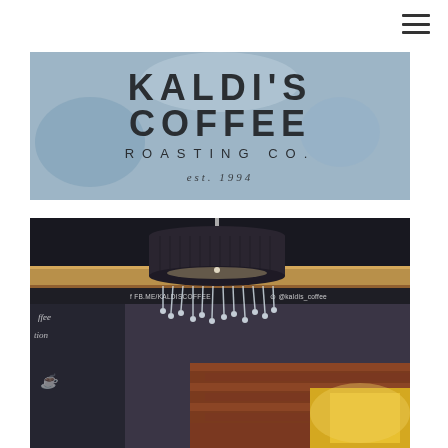[Figure (logo): Kaldi's Coffee Roasting Co. logo on frosted glass background. Large bold text reads KALDI'S COFFEE, below it ROASTING CO., and est. 1994 in italic script.]
[Figure (photo): Interior photo of Kaldi's Coffee shop showing a decorative black drum chandelier with crystal droplets hanging from it, mounted above a wooden shelf. Below shows a chalkboard menu on the left and brick wall with warm lighting on the right. A social media bar reads fb.me/KALDISCOFFEE and @kaldis_coffee.]